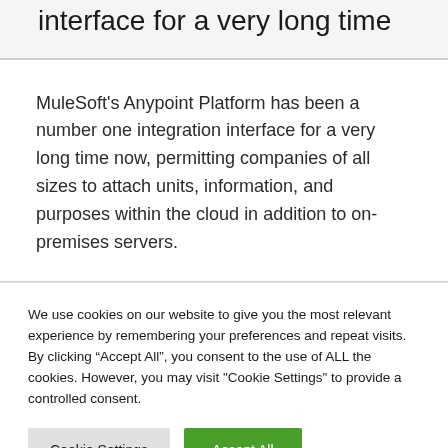interface for a very long time
MuleSoft's Anypoint Platform has been a number one integration interface for a very long time now, permitting companies of all sizes to attach units, information, and purposes within the cloud in addition to on-premises servers.
We use cookies on our website to give you the most relevant experience by remembering your preferences and repeat visits. By clicking “Accept All”, you consent to the use of ALL the cookies. However, you may visit "Cookie Settings" to provide a controlled consent.